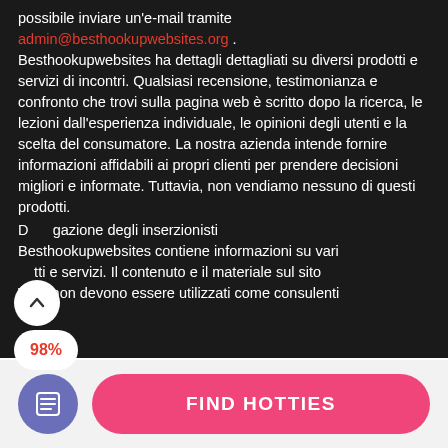possibile inviare un'e-mail tramite admin@besthookupwebsites.org . Besthookupwebsites ha dettagli dettagliati su diversi prodotti e servizi di incontri. Qualsiasi recensione, testimonianza e confronto che trovi sulla pagina web è scritto dopo la ricerca, le lezioni dall'esperienza individuale, le opinioni degli utenti e la scelta del consumatore. La nostra azienda intende fornire informazioni affidabili ai propri clienti per prendere decisioni migliori e informate. Tuttavia, non vendiamo nessuno di questi prodotti.
D…gazione degli inserzionisti
Besthookupwebsites contiene informazioni su vari …tti e servizi. Il contenuto e il materiale sul sito Web non devono essere utilizzati come consulenti
FIND HOTTIES